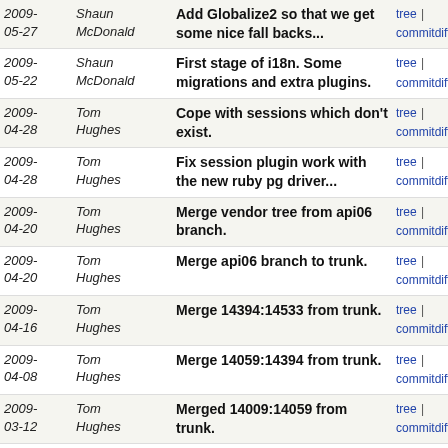| Date | Author | Message | Links |
| --- | --- | --- | --- |
| 2009-05-27 | Shaun McDonald | Add Globalize2 so that we get some nice fall backs... | tree | commitdiff |
| 2009-05-22 | Shaun McDonald | First stage of i18n. Some migrations and extra plugins. | tree | commitdiff |
| 2009-04-28 | Tom Hughes | Cope with sessions which don't exist. | tree | commitdiff |
| 2009-04-28 | Tom Hughes | Fix session plugin work with the new ruby pg driver... | tree | commitdiff |
| 2009-04-20 | Tom Hughes | Merge vendor tree from api06 branch. | tree | commitdiff |
| 2009-04-20 | Tom Hughes | Merge api06 branch to trunk. | tree | commitdiff |
| 2009-04-16 | Tom Hughes | Merge 14394:14533 from trunk. | tree | commitdiff |
| 2009-04-08 | Tom Hughes | Merge 14059:14394 from trunk. | tree | commitdiff |
| 2009-03-12 | Tom Hughes | Merged 14009:14059 from trunk. | tree | commitdiff |
| 2009-03-08 | Tom Hughes | Merge 12304:14009 from trunk. | tree | commitdiff |
| 2008-12-12 | Shaun McDonald | resync from rails_port 11795:12304 | tree | commitdiff |
| 2008-11-27 | Shaun McDonald | Adding pagination to the changesets, thus allowing... | tree | commitdiff |
| 2008-11-08 | Shaun McDonald | Resyncing from head 10895:11795 | tree | commitdiff |
| 2008- | Shaun | Updating to use Rails 2.1.2 | tree | |